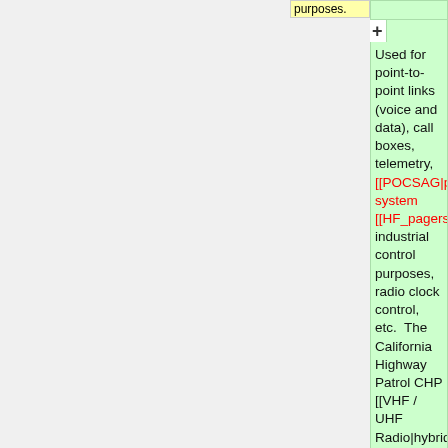purposes.
Used for point-to-point links (voice and data), call boxes, telemetry, [[POCSAG|paging]] system [[HF_pagers|links]], industrial control purposes, radio clock control, etc.  The California Highway Patrol CHP [[VHF / UHF Radio|hybrid VHF/UHF/700 MHz]] system uses 72 MHz and 75 MHz, as well as microwave systems, to link remote receiver sites for its VHF low band statewide land mobile network.  Several other systems in various places nationwide